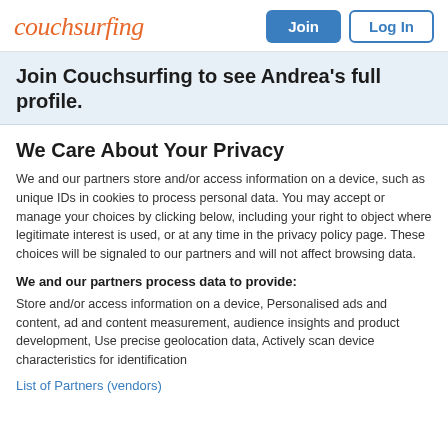couchsurfing   Join   Log In
Join Couchsurfing to see Andrea's full profile.
We Care About Your Privacy
We and our partners store and/or access information on a device, such as unique IDs in cookies to process personal data. You may accept or manage your choices by clicking below, including your right to object where legitimate interest is used, or at any time in the privacy policy page. These choices will be signaled to our partners and will not affect browsing data.
We and our partners process data to provide:
Store and/or access information on a device, Personalised ads and content, ad and content measurement, audience insights and product development, Use precise geolocation data, Actively scan device characteristics for identification
List of Partners (vendors)